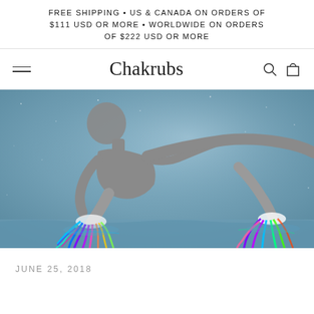FREE SHIPPING • US & CANADA ON ORDERS OF $111 USD OR MORE • WORLDWIDE ON ORDERS OF $222 USD OR MORE
Chakrubs
[Figure (photo): Artistic digital image of a grey humanoid figure crouching/floating with colorful rainbow roots or tendrils extending from its feet, reflected in water below, on a blue-grey starry background.]
JUNE 25, 2018